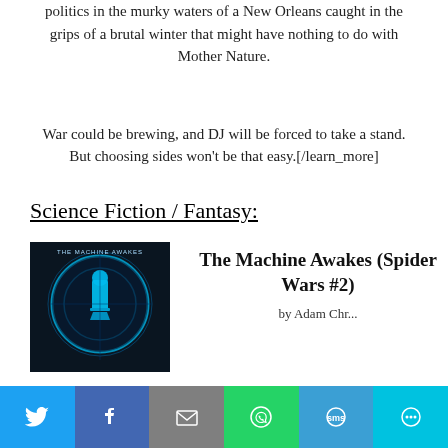politics in the murky waters of a New Orleans caught in the grips of a brutal winter that might have nothing to do with Mother Nature.
War could be brewing, and DJ will be forced to take a stand. But choosing sides won't be that easy.[/learn_more]
Science Fiction / Fantasy:
[Figure (photo): Book cover for The Machine Awakes (Spider Wars #2) showing a figure standing in front of a glowing blue circular design on a dark background]
The Machine Awakes (Spider Wars #2)
Social sharing bar with Twitter, Facebook, Email, WhatsApp, SMS, More buttons